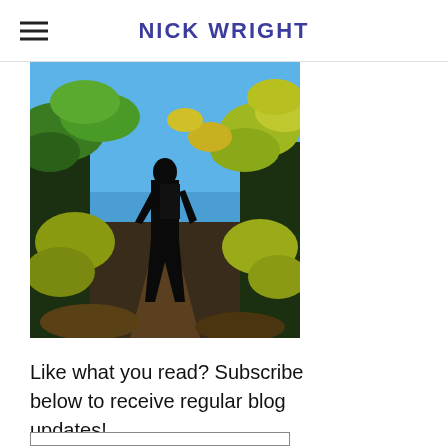NICK WRIGHT
[Figure (photo): Silhouette of a person standing on a trail path surrounded by green and yellow autumn leaves with blue sky in background]
Like what you read? Subscribe below to receive regular blog updates!